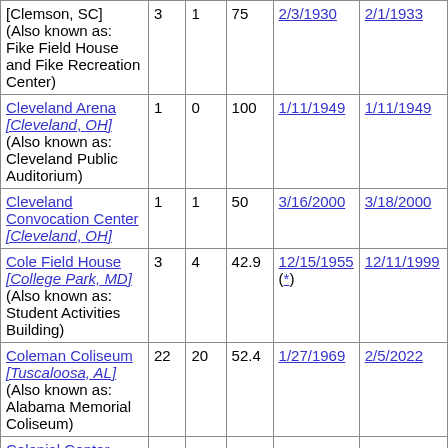| [Clemson, SC] (Also known as: Fike Field House and Fike Recreation Center) | 3 | 1 | 75 | 2/3/1930 | 2/1/1933 |
| Cleveland Arena [Cleveland, OH] (Also known as: Cleveland Public Auditorium) | 1 | 0 | 100 | 1/11/1949 | 1/11/1949 |
| Cleveland Convocation Center [Cleveland, OH] | 1 | 1 | 50 | 3/16/2000 | 3/18/2000 |
| Cole Field House [College Park, MD] (Also known as: Student Activities Building) | 3 | 4 | 42.9 | 12/15/1955 (*) | 12/11/1999 |
| Coleman Coliseum [Tuscaloosa, AL] (Also known as: Alabama Memorial Coliseum) | 22 | 20 | 52.4 | 1/27/1969 | 2/5/2022 |
| Colonial Center |  |  |  |  |  |